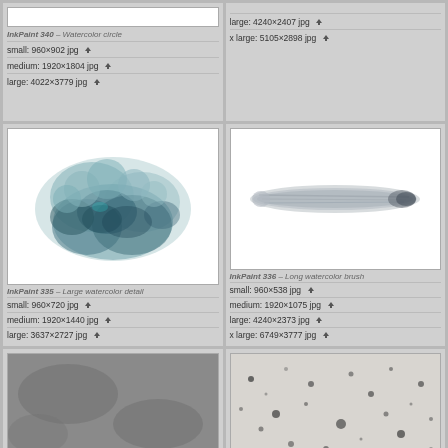[Figure (screenshot): Top-left card partial: InkPaint 340 Watercolor circle download rows (small, medium, large)]
[Figure (screenshot): Top-right card partial: large and x large download rows]
[Figure (photo): InkPaint 335 - Large watercolor detail: teal/dark blue watercolor splash cloud on white]
[Figure (photo): InkPaint 336 - Long watercolor brush: horizontal gray brush stroke on white]
[Figure (photo): Bottom-left partial: dark gray watercolor texture]
[Figure (photo): Bottom-right partial: speckled/granular watercolor texture]